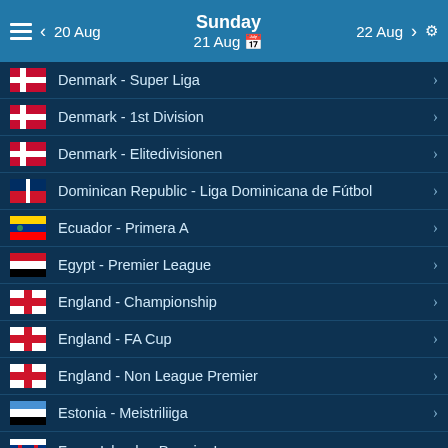Sunday 21 Aug | < 20 Aug | 22 Aug > | Settings
Denmark - Super Liga
Denmark - 1st Division
Denmark - Elitedivisionen
Dominican Republic - Liga Dominicana de Fútbol
Ecuador - Primera A
Egypt - Premier League
England - Championship
England - FA Cup
England - Non League Premier
Estonia - Meistriliiga
Faroe Islands - Premier League